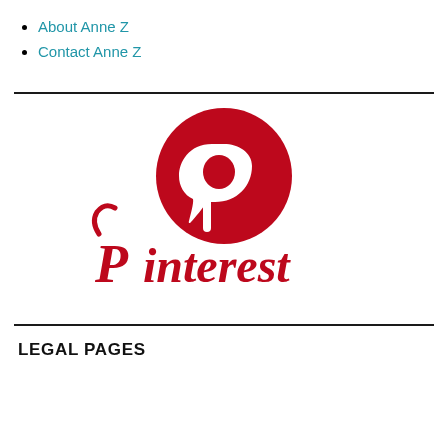About Anne Z
Contact Anne Z
[Figure (logo): Pinterest logo: red circle with white 'P' pin icon above the word 'Pinterest' in red script lettering]
LEGAL PAGES